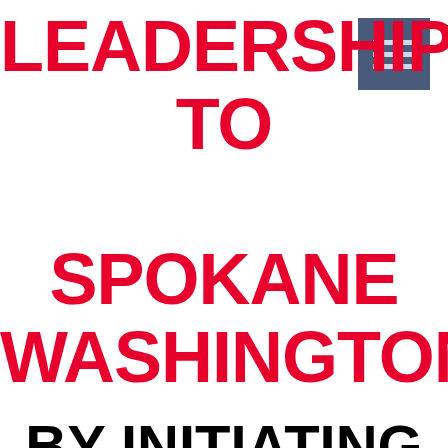[Figure (other): Small dark blue-grey icon box in top right corner with three horizontal lines (hamburger/document icon)]
LEADERSHIP TO SPOKANE WASHINGTON! BY INITIATING "YOUR